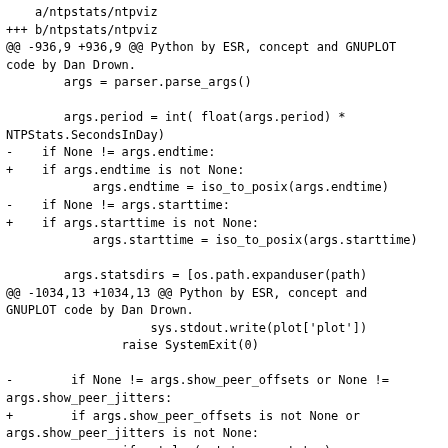a/ntpstats/ntpviz
+++ b/ntpstats/ntpviz
@@ -936,9 +936,9 @@ Python by ESR, concept and GNUPLOT code by Dan Drown.
        args = parser.parse_args()

        args.period = int( float(args.period) *
NTPStats.SecondsInDay)
-    if None != args.endtime:
+    if args.endtime is not None:
            args.endtime = iso_to_posix(args.endtime)
-    if None != args.starttime:
+    if args.starttime is not None:
            args.starttime = iso_to_posix(args.starttime)

        args.statsdirs = [os.path.expanduser(path)
@@ -1034,13 +1034,13 @@ Python by ESR, concept and GNUPLOT code by Dan Drown.
                    sys.stdout.write(plot['plot'])
                raise SystemExit(0)

-        if None != args.show_peer_offsets or None !=
args.show_peer_jitters:
+        if args.show_peer_offsets is not None or
args.show_peer_jitters is not None:
                if not len( stats.peerstats ):
                    sys.stderr.write("ntpviz: ERROR:
missing peerstats data\n")
                    raise SystemExit(1)
-        if None != args.show_peer_offsets:
+        if args.show_peer_offsets is not None: